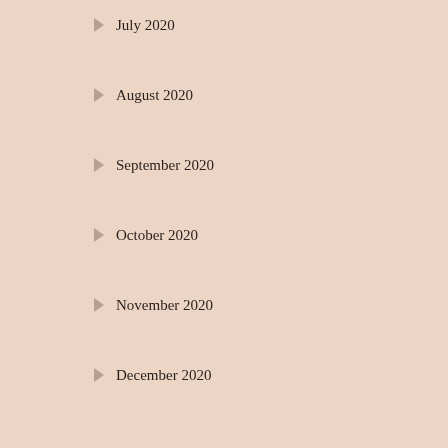July 2020
August 2020
September 2020
October 2020
November 2020
December 2020
2019
January 2019
February 2019
March 2019
April 2019
May 2019
June 2019
July 2019
August 2019